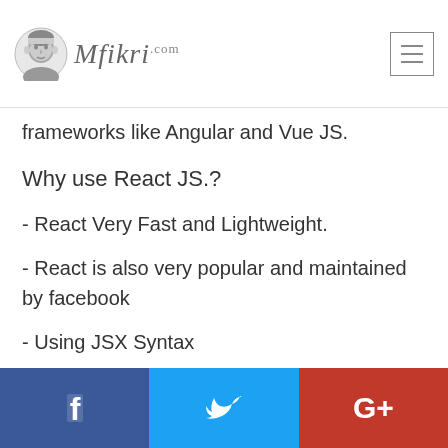Mfikri.com
frameworks like Angular and Vue JS.
Why use React JS.?
- React Very Fast and Lightweight.
- React is also very popular and maintained by facebook
- Using JSX Syntax
Facebook | Twitter | Google+